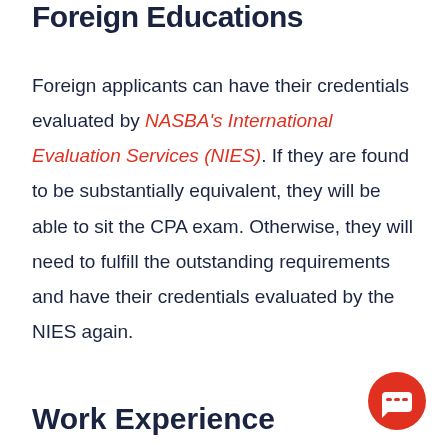Foreign Educations
Foreign applicants can have their credentials evaluated by NASBA's International Evaluation Services (NIES). If they are found to be substantially equivalent, they will be able to sit the CPA exam. Otherwise, they will need to fulfill the outstanding requirements and have their credentials evaluated by the NIES again.
Work Experience